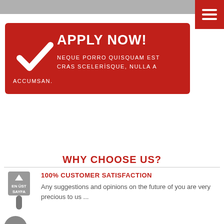[Figure (illustration): Gray navigation bar at the top of the page]
[Figure (illustration): Red hamburger menu button in the top right corner with three white horizontal lines]
[Figure (illustration): Red banner with white checkmark and 'APPLY NOW!' heading with lorem ipsum placeholder text]
WHY CHOOSE US?
100% CUSTOMER SATISFACTION
Any suggestions and opinions on the future of you are very precious to us ...
EASY TO USE